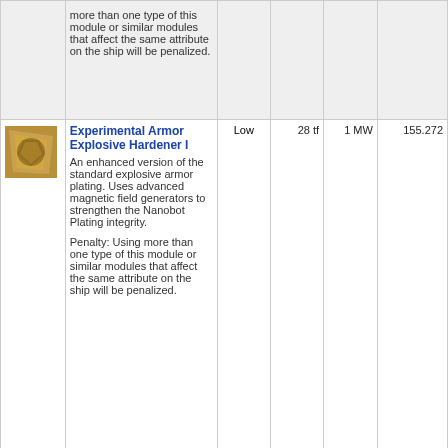| Icon | Name / Description | Meta | Mass | CPU | Price |
| --- | --- | --- | --- | --- | --- |
| [icon] | more than one type of this module or similar modules that affect the same attribute on the ship will be penalized. |  |  |  |  |
| [icon] | Experimental Armor Explosive Hardener I
An enhanced version of the standard explosive armor plating. Uses advanced magnetic field generators to strengthen the Nanobot Plating integrity.

Penalty: Using more than one type of this module or similar modules that affect the same attribute on the ship will be penalized. | Low | 28 tf | 1 MW | 155.272 |
| [icon] | Federation Navy Armor Explosive Hardener | Low | 16 tf | 1 MW | 7.891.825 |